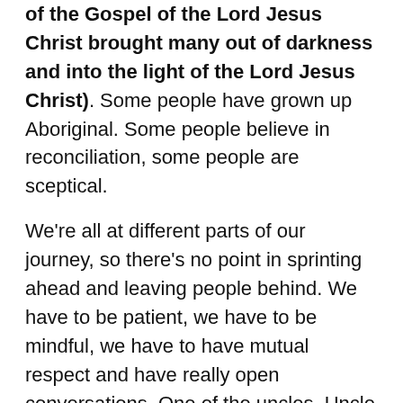of the Gospel of the Lord Jesus Christ brought many out of darkness and into the light of the Lord Jesus Christ). Some people have grown up Aboriginal. Some people believe in reconciliation, some people are sceptical.
We're all at different parts of our journey, so there's no point in sprinting ahead and leaving people behind. We have to be patient, we have to be mindful, we have to have mutual respect and have really open conversations. One of the uncles, Uncle Greg, who's a Darug Elder, actually talks about the reason why pianos have black and white keys, and the reason why they make beautiful music is because you play both black and white keys. So I think it's really important that all of us come together on this journey towards reconciliation.